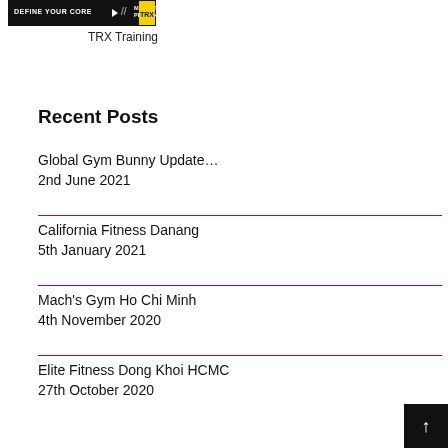[Figure (photo): TRX Training banner advertisement with black background, text 'DEFINE YOUR CORE' and 'MAKE IT PERSONAL' with TRX yellow logo badge]
TRX Training
Recent Posts
Global Gym Bunny Update…
2nd June 2021
California Fitness Danang
5th January 2021
Mach's Gym Ho Chi Minh
4th November 2020
Elite Fitness Dong Khoi HCMC
27th October 2020